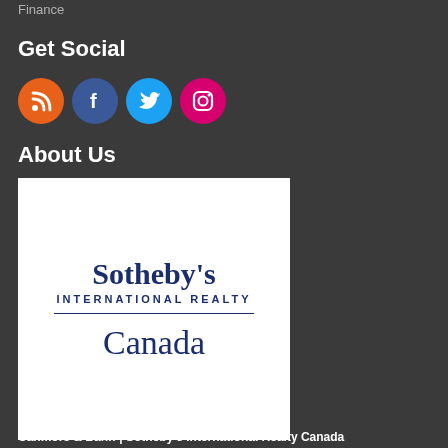Finance
Get Social
[Figure (infographic): Four social media icons in circles: RSS (orange), Facebook (dark blue), Twitter (light blue), Instagram (pink/magenta)]
About Us
[Figure (logo): Sotheby's International Realty Canada logo on white background. Text reads 'Sotheby's' in large serif navy font, 'INTERNATIONAL REALTY' in small caps below, a horizontal divider line, then 'Canada' in large serif navy font.]
Canmore & Banff | Sotheby's International Realty Canada